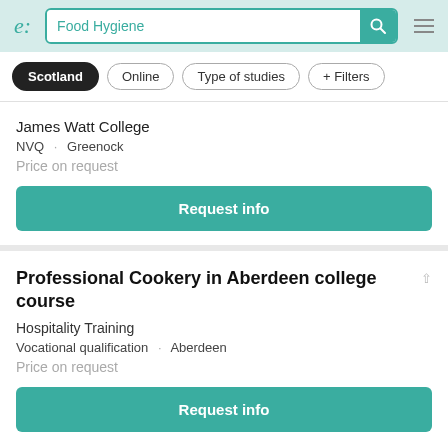e: | Food Hygiene [search]
Scotland | Online | Type of studies | + Filters
James Watt College
NVQ · Greenock
Price on request
Request info
Professional Cookery in Aberdeen college course
Hospitality Training
Vocational qualification · Aberdeen
Price on request
Request info